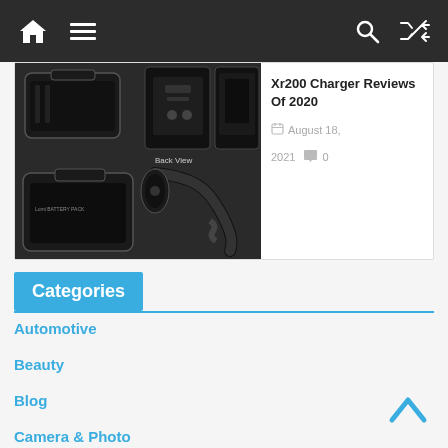Navigation bar with home, menu, search, and random icons
[Figure (photo): Product photo showing camera battery packs and a car charger/charging kit with 'Back View' label on one item]
Xr200 Charger Reviews Of 2020
August 18, 2021  0
Categories
Automotive
Beauty
Blog
Camera & Photo